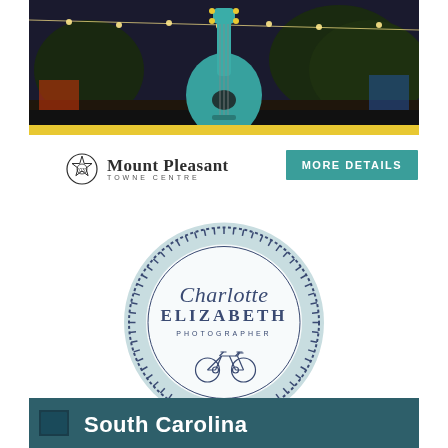[Figure (photo): Top banner photo of a nighttime outdoor event with string lights, trees, and a stylized teal ukulele/guitar graphic overlaid. Yellow strip below the banner.]
[Figure (logo): Mount Pleasant Towne Centre logo: decorative circular badge icon on the left, 'Mount Pleasant' in bold serif font, 'Towne Centre' in small caps below.]
[Figure (logo): Teal/green 'MORE DETAILS' call-to-action button.]
[Figure (logo): Charlotte Elizabeth Photographer circular logo: light blue circle with dashed decorative border, script 'Charlotte' text, bold serif 'ELIZABETH', 'PHOTOGRAPHER' in spaced caps, and a tandem bicycle illustration.]
[Figure (photo): Bottom partial banner showing 'South Carolina' text in white on a dark teal/blue background with flag imagery.]